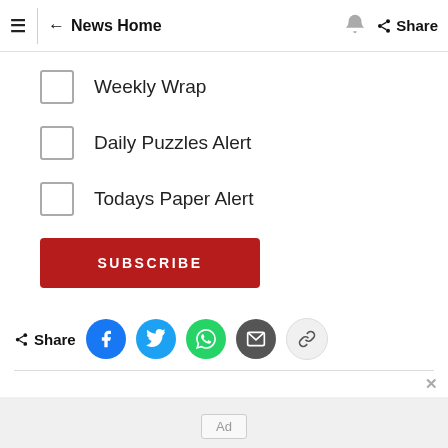≡  ← News Home  🔔  Share
Weekly Wrap
Daily Puzzles Alert
Todays Paper Alert
SUBSCRIBE
Share
Ad